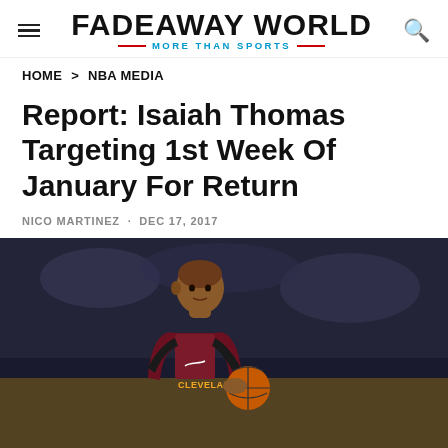FADEAWAY WORLD — MORE THAN SPORTS
HOME > NBA MEDIA
Report: Isaiah Thomas Targeting 1st Week Of January For Return
NICO MARTINEZ · DEC 17, 2017
[Figure (infographic): Social share icons: Facebook (f), Twitter (bird), Pinterest (P)]
[Figure (photo): Isaiah Thomas in a Cleveland Cavaliers maroon practice jersey dribbling a basketball on court]